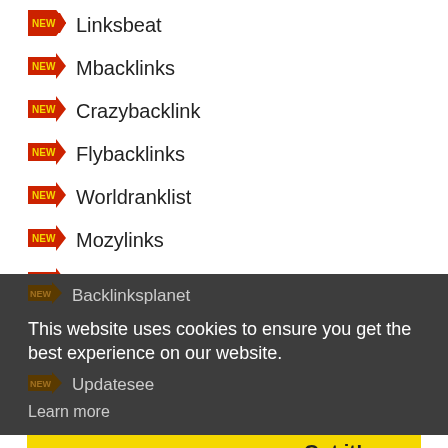Linksbeat
Mbacklinks
Crazybacklink
Flybacklinks
Worldranklist
Mozylinks
Skybacklinks
Backlinksplanet
Updatesee
This website uses cookies to ensure you get the best experience on our website.
Learn more
Top Liked Posts
Got it!
Printer Support Assistant...54
connect canon mg2922 printer t...    51